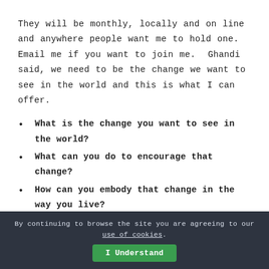They will be monthly, locally and on line and anywhere people want me to hold one. Email me if you want to join me.  Ghandi said, we need to be the change we want to see in the world and this is what I can offer.
What is the change you want to see in the world?
What can you do to encourage that change?
How can you embody that change in the way you live?
By continuing to browse the site you are agreeing to our use of cookies. I Understand